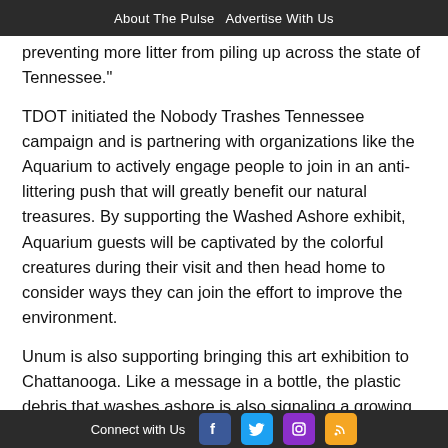About The Pulse  Advertise With Us
preventing more litter from piling up across the state of Tennessee."
TDOT initiated the Nobody Trashes Tennessee campaign and is partnering with organizations like the Aquarium to actively engage people to join in an anti-littering push that will greatly benefit our natural treasures. By supporting the Washed Ashore exhibit, Aquarium guests will be captivated by the colorful creatures during their visit and then head home to consider ways they can join the effort to improve the environment.
Unum is also supporting bringing this art exhibition to Chattanooga. Like a message in a bottle, the plastic debris that washes ashore is also signaling a growing concern for human health.
"Unum is proud to sponsor the Washed Ashore Art Exhibit
Connect with Us